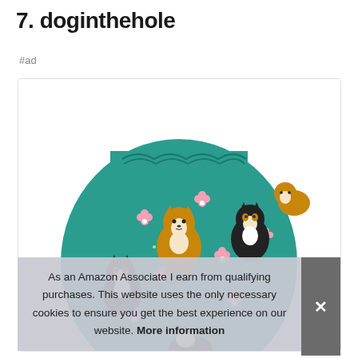7. doginthehole
#ad
[Figure (photo): A teal drawstring bag with a pattern of corgi dogs and pink cherry blossoms on a teal background.]
As an Amazon Associate I earn from qualifying purchases. This website uses the only necessary cookies to ensure you get the best experience on our website. More information